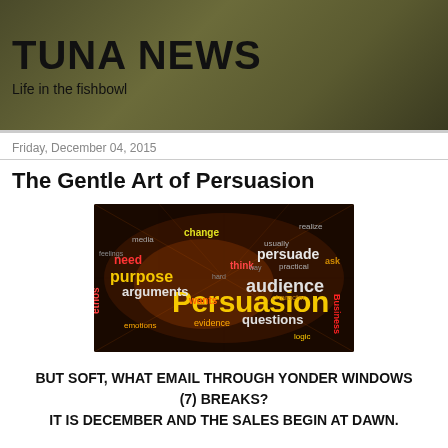TUNA NEWS
Life in the fishbowl
Friday, December 04, 2015
The Gentle Art of Persuasion
[Figure (infographic): Word cloud about persuasion with colorful text including words: purpose, need, arguments, ethos, Persuasion, audience, persuade, questions, think, wants, change, evidence, emotions, business, character, logic, practical, recognize, media, feelings]
BUT SOFT, WHAT EMAIL THROUGH YONDER WINDOWS (7) BREAKS?
IT IS DECEMBER AND THE SALES BEGIN AT DAWN.